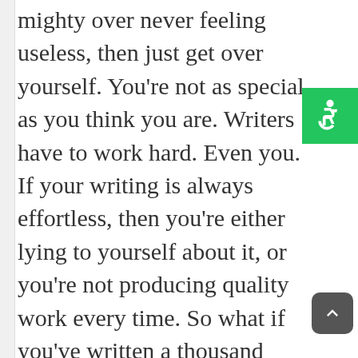mighty over never feeling useless, then just get over yourself. You're not as special as you think you are. Writers have to work hard. Even you. If your writing is always effortless, then you're either lying to yourself about it, or you're not producing quality work every time. So what if you've written a thousand poems that you love? That doesn't mean all of them are good quality
[Figure (illustration): Green accessibility icon (wheelchair symbol) in a green square, positioned top-right]
[Figure (illustration): Dark gray rounded square button with white upward chevron arrow, scroll-to-top button, bottom right]